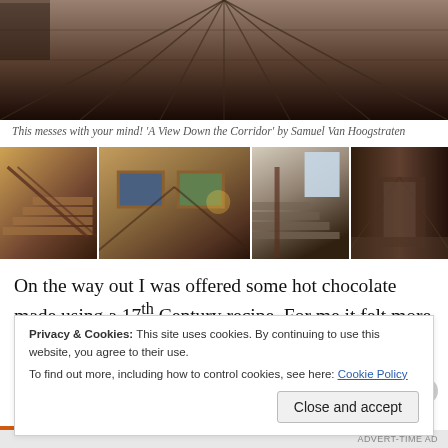[Figure (photo): Top-down view of wooden corridor/floor boards, dark brown tones]
This messes with your mind! 'A View Down the Corridor' by Samuel Van Hoogstraten
[Figure (photo): Row of four thumbnail photos of historic house interiors: staircase, gallery hall with paintings, staircase with window, dark wooden corridor]
On the way out I was offered some hot chocolate made using a 17th Century recipe. For me it felt more like a punishment than a treat – it was very, very spicy!
Privacy & Cookies: This site uses cookies. By continuing to use this website, you agree to their use.
To find out more, including how to control cookies, see here: Cookie Policy
Close and accept